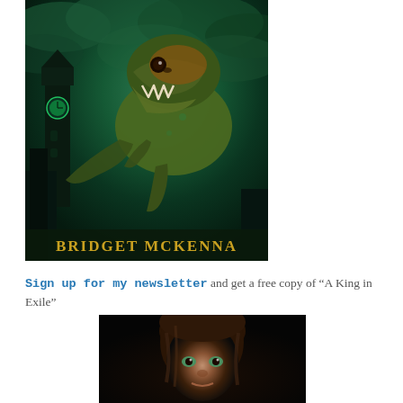[Figure (illustration): Book cover showing a T-Rex dinosaur against a dark stormy green sky with Big Ben silhouette on the left. Author name 'BRIDGET McKENNA' in gold text at the bottom.]
Sign up for my newsletter and get a free copy of “A King in Exile”
[Figure (photo): Author photo showing a person with brown hair and green eyes against a dark background.]